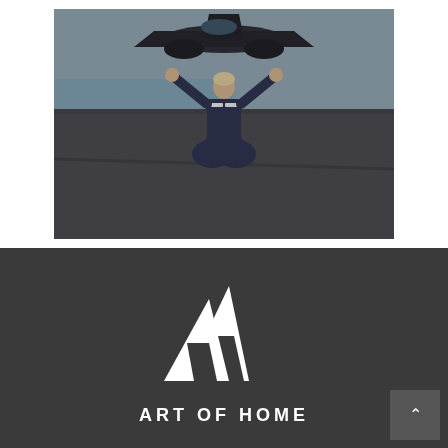[Figure (photo): A young person in dark navy blue coveralls kneeling on an aircraft carrier deck with both arms raised wide, in front of a military aircraft. The photo is in muted/desaturated tones.]
[Figure (logo): Art of Home logo: two overlapping white triangle/letter-A shapes (like stacked mountains or double-A) on a dark charcoal background, with the text 'ART OF HOME' in white spaced capitals beneath.]